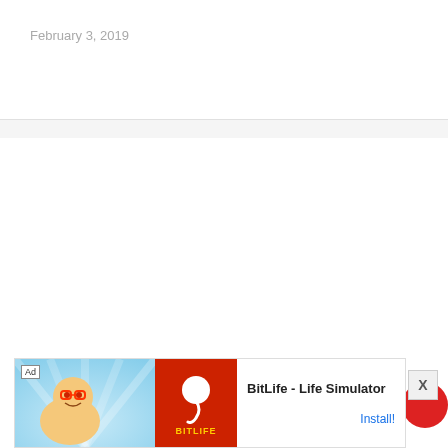February 3, 2019
[Figure (other): Advertisement banner for BitLife - Life Simulator mobile game. Contains 'Ad' label badge, illustrated character on blue background, red BitLife logo with sperm icon, and Install button link.]